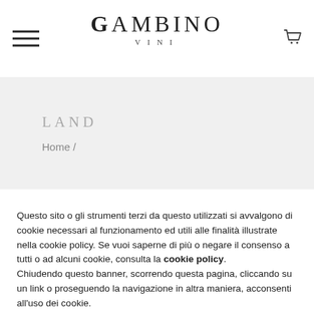GAMBINO VINI
LAND
Home /
Questo sito o gli strumenti terzi da questo utilizzati si avvalgono di cookie necessari al funzionamento ed utili alle finalità illustrate nella cookie policy. Se vuoi saperne di più o negare il consenso a tutti o ad alcuni cookie, consulta la cookie policy.
Chiudendo questo banner, scorrendo questa pagina, cliccando su un link o proseguendo la navigazione in altra maniera, acconsenti all'uso dei cookie.
ACCETTA